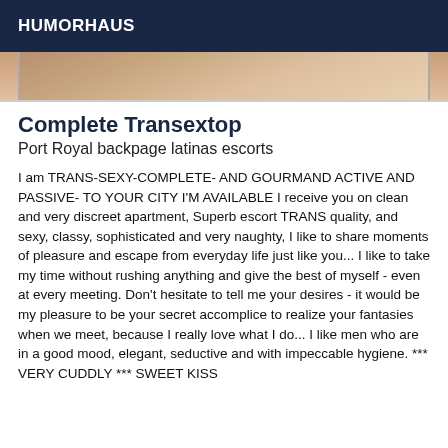HUMORHAUS
[Figure (photo): Partial photo strip showing what appears to be a person, cropped at the top of the content area]
Complete Transextop
Port Royal backpage latinas escorts
I am TRANS-SEXY-COMPLETE- AND GOURMAND ACTIVE AND PASSIVE- TO YOUR CITY I'M AVAILABLE I receive you on clean and very discreet apartment, Superb escort TRANS quality, and sexy, classy, sophisticated and very naughty, I like to share moments of pleasure and escape from everyday life just like you... I like to take my time without rushing anything and give the best of myself - even at every meeting. Don't hesitate to tell me your desires - it would be my pleasure to be your secret accomplice to realize your fantasies when we meet, because I really love what I do... I like men who are in a good mood, elegant, seductive and with impeccable hygiene. *** VERY CUDDLY *** SWEET KISS